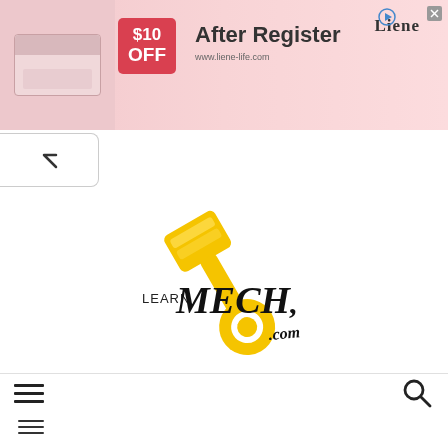[Figure (infographic): Advertisement banner for Liene brand showing a printer product, $10 OFF after register promotion on pink/red background with Liene logo and play/close buttons]
[Figure (other): Back navigation button showing an up/chevron arrow inside a rounded rectangle]
[Figure (logo): LearnMech.com logo featuring yellow mechanical piston/wrench graphic with bold stylized MECH text and 'LEARN' and '.com' text]
[Figure (other): Hamburger menu icon (three horizontal lines) on the left side of the navigation bar]
[Figure (other): Search magnifying glass icon on the right side of the navigation bar]
[Figure (other): Second hamburger menu icon (three horizontal lines) at the bottom left of the page]